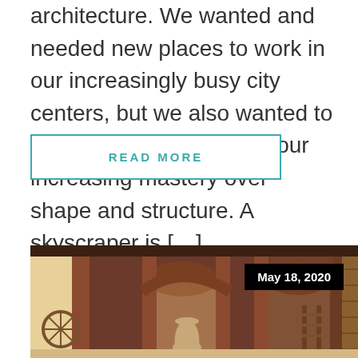architecture. We wanted and needed new places to work in our increasingly busy city centers, but we also wanted to make a statement about our increasing mastery over shape and structure. A skyscraper is […]
READ MORE
[Figure (photo): Interior of an old brick building with arched doorways, a ceramic pot on the ground, and warm light coming through openings. A date badge showing 'May 18, 2020' is overlaid in the upper right.]